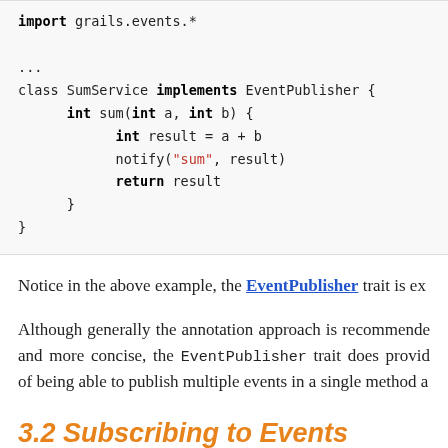import grails.events.*
...
class SumService implements EventPublisher {
    int sum(int a, int b) {
        int result = a + b
        notify("sum", result)
        return result
    }
}
Notice in the above example, the EventPublisher trait is ex...
Although generally the annotation approach is recommended and more concise, the EventPublisher trait does provide of being able to publish multiple events in a single method a...
3.2 Subscribing to Events
There are several ways to consume an event. recommended way is to use the Subscriber annotation.